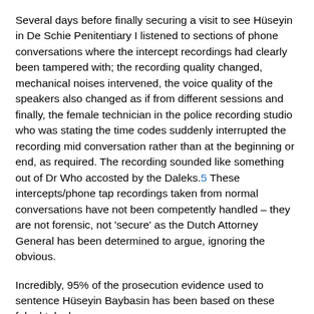Several days before finally securing a visit to see Hüseyin in De Schie Penitentiary I listened to sections of phone conversations where the intercept recordings had clearly been tampered with; the recording quality changed, mechanical noises intervened, the voice quality of the speakers also changed as if from different sessions and finally, the female technician in the police recording studio who was stating the time codes suddenly interrupted the recording mid conversation rather than at the beginning or end, as required. The recording sounded like something out of Dr Who accosted by the Daleks.5 These intercepts/phone tap recordings taken from normal conversations have not been competently handled – they are not forensic, not 'secure' as the Dutch Attorney General has been determined to argue, ignoring the obvious.
Incredibly, 95% of the prosecution evidence used to sentence Hüseyin Baybasin has been based on these faked telephone